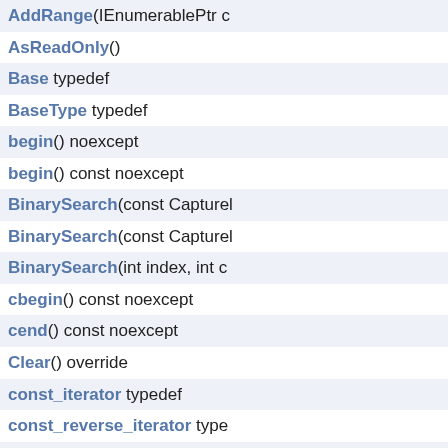AddRange(IEnumerablePtr c
AsReadOnly()
Base typedef
BaseType typedef
begin() noexcept
begin() const noexcept
BinarySearch(const Capturel
BinarySearch(const Capturel
BinarySearch(int index, int c
cbegin() const noexcept
cend() const noexcept
Clear() override
const_iterator typedef
const_reverse_iterator type
Contains(const CapturePtr &
ConvertAll(Converter< Captu
CopyTo(System::ArrayPtr< C
CopyTo(const System::ArrayP
CopyTo(int index, const Syste